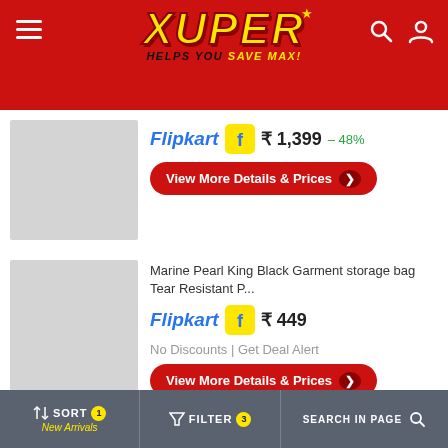[Figure (screenshot): Xuper app header with red background, Xuper logo in yellow italic bold text, tagline 'HELPS YOU SAVE MAX!', hamburger menu icon on left, search and user icons on right]
[Figure (screenshot): First product listing: grey placeholder image, Flipkart logo, price ₹ 1,399, -48% discount, View More Details & Prices button]
Flipkart ₹ 1,399 – 48%
View More Details & Prices
Marine Pearl King Black Garment storage bag Tear Resistant P...
Flipkart ₹ 449
No Discounts | Get Deal Alert
View More Details & Prices
SORT 1 New Arrivals  FILTER 3  SEARCH IN PAGE